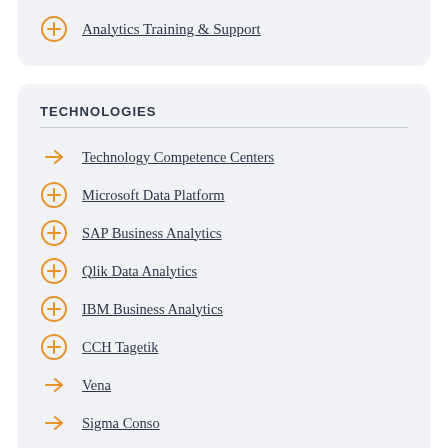Analytics Training & Support
TECHNOLOGIES
Technology Competence Centers
Microsoft Data Platform
SAP Business Analytics
Qlik Data Analytics
IBM Business Analytics
CCH Tagetik
Vena
Sigma Conso
Databricks
Ataccama